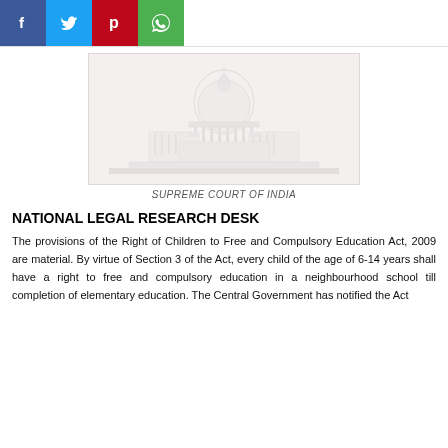[Figure (other): Social media share buttons: Facebook (blue), Twitter (light blue), Pinterest (red), WhatsApp (green)]
[Figure (photo): Faded photograph of the Supreme Court of India building with its distinctive dome architecture]
SUPREME COURT OF INDIA
NATIONAL LEGAL RESEARCH DESK
The provisions of the Right of Children to Free and Compulsory Education Act, 2009 are material. By virtue of Section 3 of the Act, every child of the age of 6-14 years shall have a right to free and compulsory education in a neighbourhood school till completion of elementary education. The Central Government has notified the Act